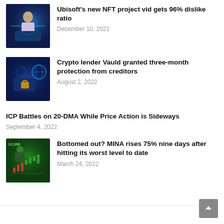[Figure (photo): Illustrated person at a glowing computer/keyboard with NFT/crypto imagery, blue tones]
Ubisoft's new NFT project vid gets 96% dislike ratio
December 10, 2021
[Figure (photo): Illustrated laptop with padlock/security symbol and global crypto imagery, blue tones]
Crypto lender Vauld granted three-month protection from creditors
August 2, 2022
ICP Battles on 20-DMA While Price Action is Sideways
September 4, 2022
[Figure (photo): Illustrated trader sitting watching green financial chart, green tones]
Bottomed out? MINA rises 75% nine days after hitting its worst level to date
March 24, 2022